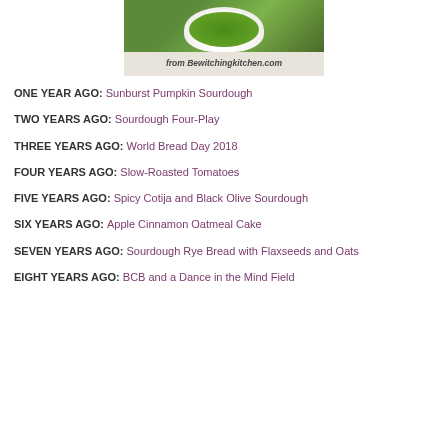[Figure (photo): A white bowl filled with green herb paste or chimichurri sauce, with a spoon, on a granite surface. Caption reads 'from Bewitchingkitchen.com']
ONE YEAR AGO: Sunburst Pumpkin Sourdough
TWO YEARS AGO: Sourdough Four-Play
THREE YEARS AGO: World Bread Day 2018
FOUR YEARS AGO: Slow-Roasted Tomatoes
FIVE YEARS AGO: Spicy Cotija and Black Olive Sourdough
SIX YEARS AGO: Apple Cinnamon Oatmeal Cake
SEVEN YEARS AGO: Sourdough Rye Bread with Flaxseeds and Oats
EIGHT YEARS AGO: BCB and a Dance in the Mind Field